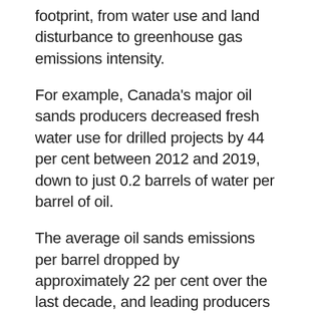footprint, from water use and land disturbance to greenhouse gas emissions intensity.
For example, Canada's major oil sands producers decreased fresh water use for drilled projects by 44 per cent between 2012 and 2019, down to just 0.2 barrels of water per barrel of oil.
The average oil sands emissions per barrel dropped by approximately 22 per cent over the last decade, and leading producers are on track for a further 16 to 23 per cent reduction over the next decade, according to